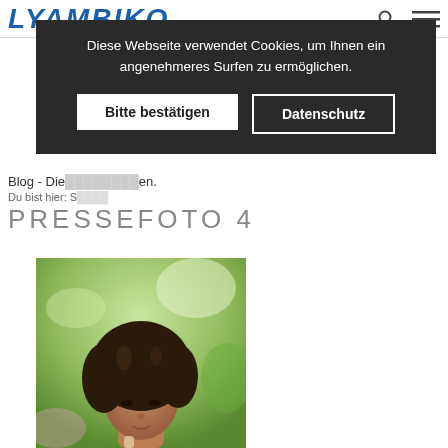LYAMBIKO
Diese Webseite verwendet Cookies, um Ihnen ein angenehmeres Surfen zu ermöglichen.
Bitte bestätigen
Datenschutz
Blog - Die ...en.
Du bist hier: S...
PRESSEFOTO 4
[Figure (photo): A woman with curly dark hair looking downward, photographed outdoors with green foliage in the background. Portrait-style photo with soft bokeh background.]